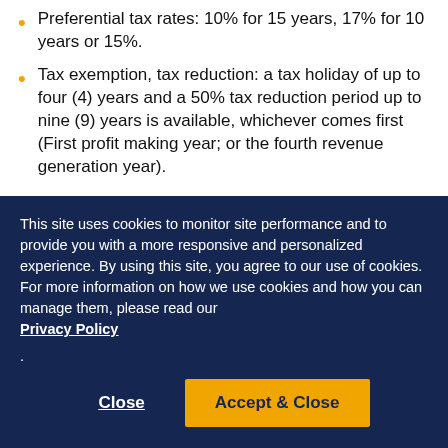Preferential tax rates: 10% for 15 years, 17% for 10 years or 15%.
Tax exemption, tax reduction: a tax holiday of up to four (4) years and a 50% tax reduction period up to nine (9) years is available, whichever comes first (First profit making year; or the fourth revenue generation year).
This site uses cookies to monitor site performance and to provide you with a more responsive and personalized experience. By using this site, you agree to our use of cookies. For more information on how we use cookies and how you can manage them, please read our Privacy Policy .
Close
Accept & Close